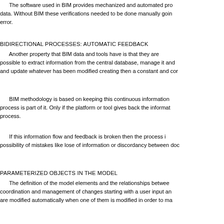The software used in BIM provides mechanized and automated pro data. Without BIM these verifications needed to be done manually goin error.
BIDIRECTIONAL PROCESSES: AUTOMATIC FEEDBACK
Another property that BIM data and tools have is that they are possible to extract information from the central database, manage it and and update whatever has been modified creating then a constant and cor
BIM methodology is based on keeping this continuous information process is part of it. Only if the platform or tool gives back the informat process.
If this information flow and feedback is broken then the process i possibility of mistakes like lose of information or discordancy between doc
PARAMETERIZED OBJECTS IN THE MODEL
The definition of the model elements and the relationships betwee coordination and management of changes starting with a user input an are modified automatically when one of them is modified in order to ma